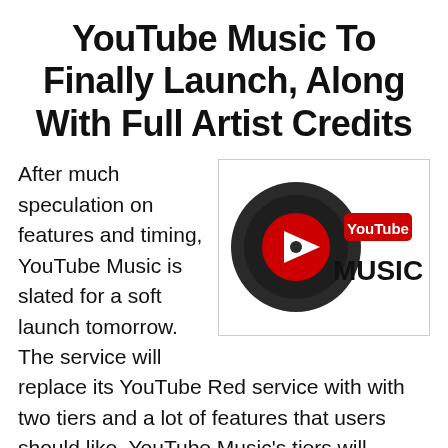YouTube Music To Finally Launch, Along With Full Artist Credits
[Figure (logo): YouTube Music logo: dark circular vinyl record with a red play button in the center, next to 'YouTube MUSIC' text in red and black]
After much speculation on features and timing, YouTube Music is slated for a soft launch tomorrow. The service will replace its YouTube Red service with with two tiers and a lot of features that users should like. YouTube Music's tiers will include